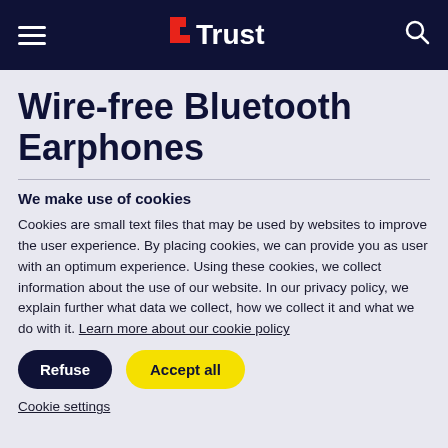Trust (logo navigation bar)
Wire-free Bluetooth Earphones
We make use of cookies
Cookies are small text files that may be used by websites to improve the user experience. By placing cookies, we can provide you as user with an optimum experience. Using these cookies, we collect information about the use of our website. In our privacy policy, we explain further what data we collect, how we collect it and what we do with it. Learn more about our cookie policy
Refuse | Accept all
Cookie settings